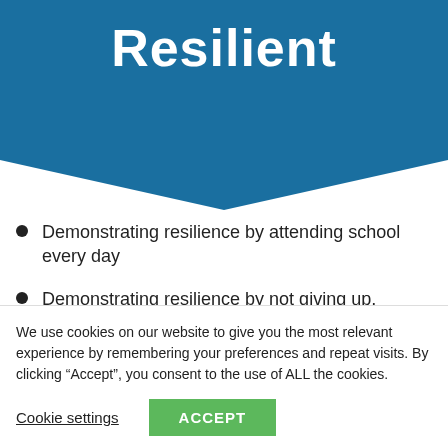Resilient
Demonstrating resilience by attending school every day
Demonstrating resilience by not giving up, especially when things seem difficult
Demonstrating resilience by accepting mistakes
We use cookies on our website to give you the most relevant experience by remembering your preferences and repeat visits. By clicking “Accept”, you consent to the use of ALL the cookies.
Cookie settings | ACCEPT